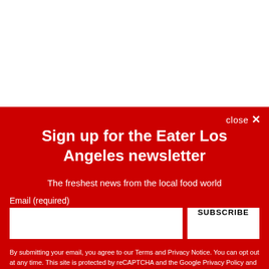[Figure (screenshot): White top section of a webpage, partially visible]
close ×
Sign up for the Eater Los Angeles newsletter
The freshest news from the local food world
Email (required)
SUBSCRIBE
By submitting your email, you agree to our Terms and Privacy Notice. You can opt out at any time. This site is protected by reCAPTCHA and the Google Privacy Policy and Terms of Service apply.